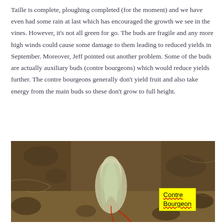Taille is complete, ploughing completed (for the moment) and we have even had some rain at last which has encouraged the growth we see in the vines. However, it's not all green for go. The buds are fragile and any more high winds could cause some damage to them leading to reduced yields in September. Moreover, Jeff pointed out another problem. Some of the buds are actually auxiliary buds (contre bourgeons) which would reduce yields further. The contre bourgeons generally don't yield fruit and also take energy from the main buds so these don't grow to full height.
[Figure (photo): Close-up photograph of a vine bud emerging from soil, with a yellow label box overlaid reading 'Contre Bourgeon' in underlined text.]